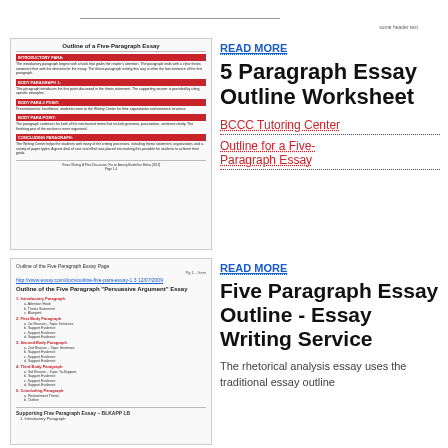[Figure (screenshot): Thumbnail of 'Outline of a Five-Paragraph Essay' document from BCCC Tutoring Center with colored section headers]
READ MORE
5 Paragraph Essay Outline Worksheet
BCCC Tutoring Center
Outline for a Five-Paragraph Essay
[Figure (screenshot): Thumbnail of 'Five Paragraph Essay Outline - Essay Writing Service' outline document with numbered list structure]
READ MORE
Five Paragraph Essay Outline - Essay Writing Service
The rhetorical analysis essay uses the traditional essay outline